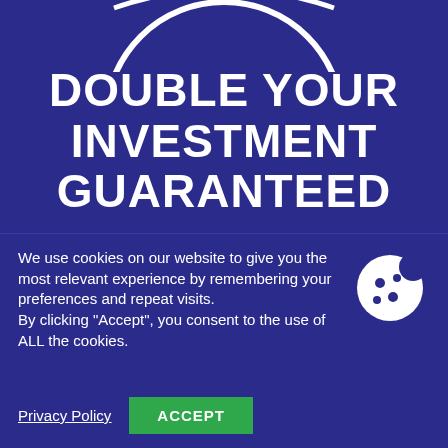[Figure (illustration): Partial circular badge/seal graphic at top, white on dark blue, showing 'le you' text fragment]
DOUBLE YOUR INVESTMENT GUARANTEED
YES! I am personally guaranteeing your success. If within your first 6-months with Entrepreneurs Circle, you don't at least DOUBLE your investment with us, I will reimburse you TWICE what you've paid us. So the literal worst case scenario is that you
We use cookies on our website to give you the most relevant experience by remembering your preferences and repeat visits.
By clicking "Accept", you consent to the use of ALL the cookies.
Privacy Policy   ACCEPT